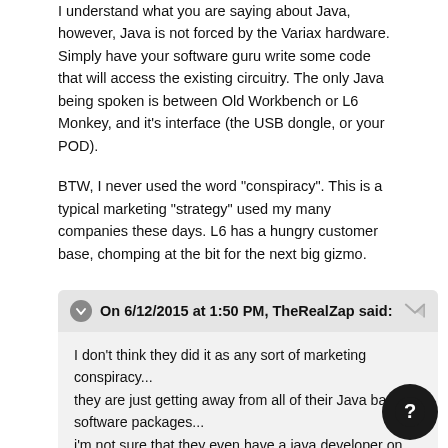I understand what you are saying about Java, however, Java is not forced by the Variax hardware. Simply have your software guru write some code that will access the existing circuitry. The only Java being spoken is between Old Workbench or L6 Monkey, and it's interface (the USB dongle, or your POD).
BTW, I never used the word "conspiracy". This is a typical marketing "strategy" used my many companies these days. L6 has a hungry customer base, chomping at the bit for the next big gizmo.
On 6/12/2015 at 1:50 PM, TheRealZap said:
I don't think they did it as any sort of marketing conspiracy...
they are just getting away from all of their Java based software packages...
i'm not sure that they even have a java developer on hand any more...
and even if they did...
upgrading it would reset the clock and force them to